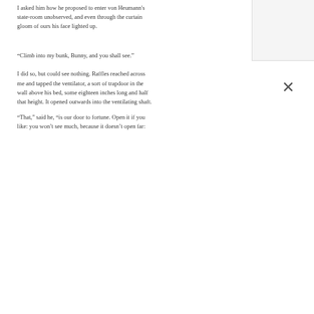I asked him how he proposed to enter von Heumanns state-room unobserved, and even through the curtain gloom of ours his face lighted up.
“Climb into my bunk, Bunny, and you shall see.”
I did so, but could see nothing. Raffles reached across me and tapped the ventilator, a sort of trapdoor in the wall above his bed, some eighteen inches long and half that height. It opened outwards into the ventilating shaft.
“That,” said he, “is our door to fortune. Open it if you like: you won’t see much, because it doesn’t open far: